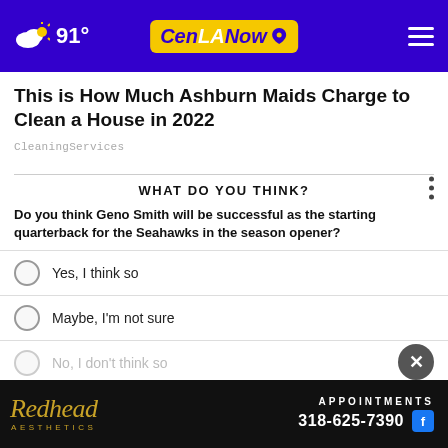91° CenLANow
This is How Much Ashburn Maids Charge to Clean a House in 2022
CleaningServices
WHAT DO YOU THINK?
Do you think Geno Smith will be successful as the starting quarterback for the Seahawks in the season opener?
Yes, I think so
Maybe, I'm not sure
No, I don't think so
Other
[Figure (advertisement): Redhead Aesthetics advertisement banner with gold script logo and APPOINTMENTS 318-625-7390 with Facebook icon on black background]